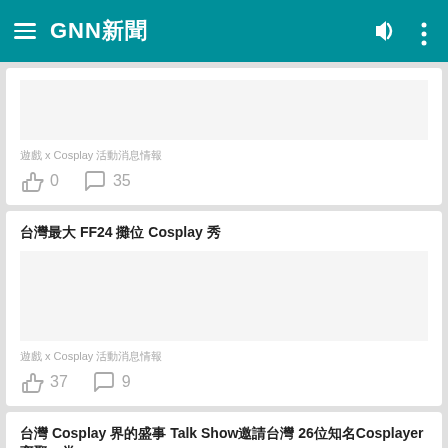GNN新聞
遊戲 x Cosplay 活動消息情報
0  35
台灣最大 FF24 攤位 Cosplay 秀
遊戲 x Cosplay 活動消息情報
37  9
台灣 Cosplay 界的盛事 Talk Show邀請台灣 26位知名Cosplayer齊聚一堂
下載 APP
遊戲 x 活動消息情報
0  171